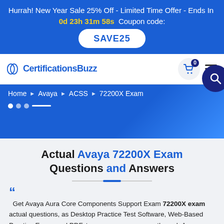Hurrah! New Year Sale 25% Off - Limited Time Offer - Ends In 0d 23h 31m 58s Coupon code: SAVE25
[Figure (logo): CertificationsBuzz logo with stylized icon]
Home ► Avaya ► ACSS ► 72200X Exam
Actual Avaya 72200X Exam Questions and Answers
Get Avaya Aura Core Components Support Exam 72200X exam actual questions, as Desktop Practice Test Software, Web-Based Practice Exam, and PDF, to ensure your success through Avaya Certified Support Specialist